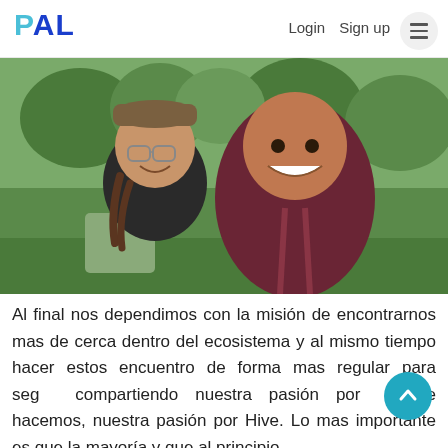PAL  Login  Sign up
[Figure (photo): Selfie of a couple smiling outdoors in a green park with trees in the background. The woman on the left wears a newsboy cap and glasses with braided hair. The man on the right wears a dark maroon hoodie.]
Al final nos dependimos con la misión de encontrarnos mas de cerca dentro del ecosistema y al mismo tiempo hacer estos encuentro de forma mas regular para seguir compartiendo nuestra pasión por lo que hacemos, nuestra pasión por Hive. Lo mas importante es que la mayoría y que al principio